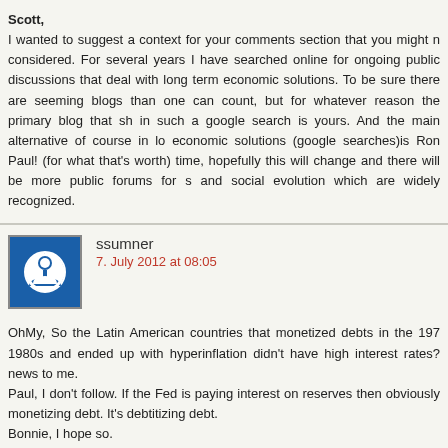Scott, I wanted to suggest a context for your comments section that you might not have considered. For several years I have searched online for ongoing public discussions that deal with long term economic solutions. To be sure there are seemingly more blogs than one can count, but for whatever reason the primary blog that shows up in such a google search is yours. And the main alternative of course in long term economic solutions (google searches) is Ron Paul! (for what that's worth). In time, hopefully this will change and there will be more public forums for social and social evolution which are widely recognized.
ssumner
7. July 2012 at 08:05
OhMy, So the Latin American countries that monetized debts in the 1970s and 1980s and ended up with hyperinflation didn't have high interest rates? That's news to me.

Paul, I don't follow. If the Fed is paying interest on reserves then obviously it's not monetizing debt. It's debtitizing debt.

Bonnie, I hope so.
OhMy
7. July 2012 at 10:11